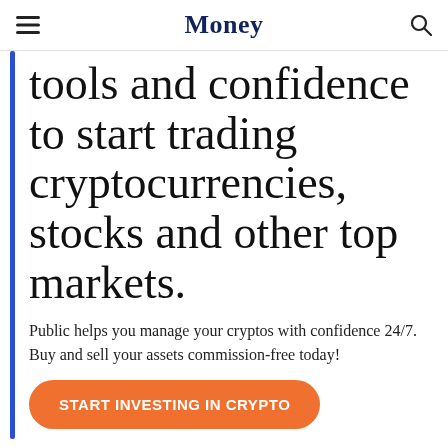Money
tools and confidence to start trading cryptocurrencies, stocks and other top markets.
Public helps you manage your cryptos with confidence 24/7. Buy and sell your assets commission-free today!
[Figure (other): Orange rounded-rectangle call-to-action button with white bold uppercase text: START INVESTING IN CRYPTO]
Offer valid for U.S. residents 18+ and subject to account approval. There may be other fees associated with trading. See Public.com/disclosures.